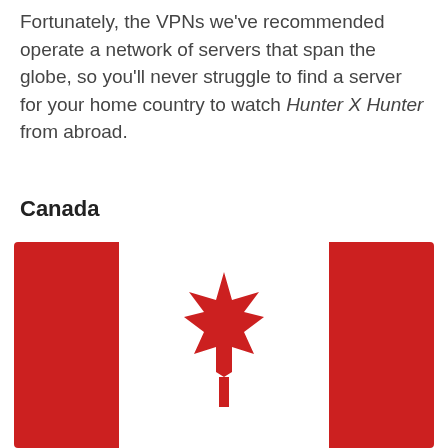Fortunately, the VPNs we've recommended operate a network of servers that span the globe, so you'll never struggle to find a server for your home country to watch Hunter X Hunter from abroad.
Canada
[Figure (photo): Canadian flag with red panels on left and right, white center panel with red maple leaf]